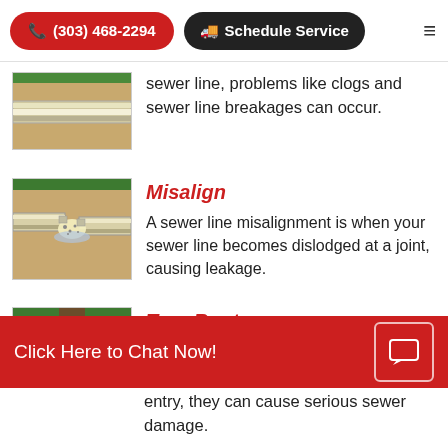(303) 468-2294  Schedule Service
[Figure (illustration): Cross-section diagram of a pipe in soil, showing a partial/cut pipe view]
sewer line, problems like clogs and sewer line breakages can occur.
Misalign
[Figure (illustration): Cross-section diagram showing a misaligned sewer pipe joint with leakage debris]
A sewer line misalignment is when your sewer line becomes dislodged at a joint, causing leakage.
Tree Roots
[Figure (illustration): Cross-section diagram showing tree roots infiltrating a sewer pipe underground]
Tree roots are attracted to entry, they can cause serious sewer damage.
Click Here to Chat Now!